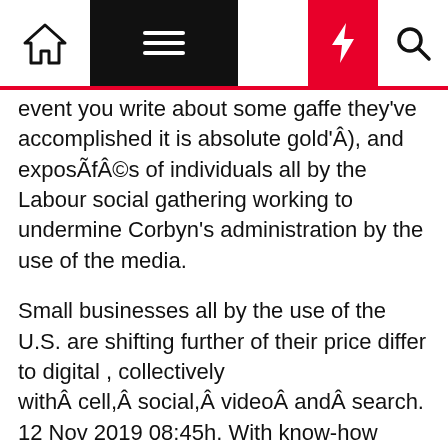Navigation bar with home, menu, dark mode, flash, and search icons
event you write about some gaffe they've accomplished it is absolute goldÂN), and exposÃfÂ©s of individuals all by the Labour social gathering working to undermine Corbyn's administration by the use of the media.
Small businesses all by the use of the U.S. are shifting further of their price differ to digital , collectively withÂ cell,Â social,Â videoÂ andÂ search. 12 Nov 2019 08:45h. With know-how advancing at on no account-sooner than-seen speeds, it's harder than ever for corporations to take care of up with the newest IT traits, fairly a bit less, actively plan for potential business impacts.
Nineteen percent of respondents named